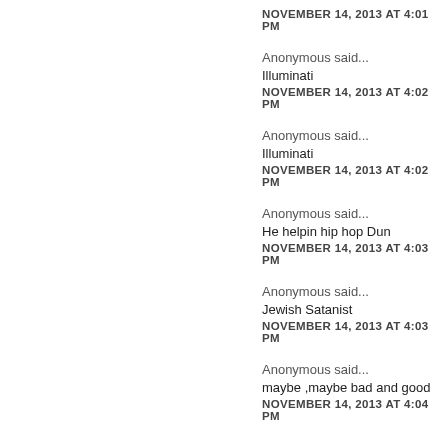NOVEMBER 14, 2013 AT 4:01 PM
Anonymous said...
Illuminati
NOVEMBER 14, 2013 AT 4:02 PM
Anonymous said...
Illuminati
NOVEMBER 14, 2013 AT 4:02 PM
Anonymous said...
He helpin hip hop Dun
NOVEMBER 14, 2013 AT 4:03 PM
Anonymous said...
Jewish Satanist
NOVEMBER 14, 2013 AT 4:03 PM
Anonymous said...
maybe ,maybe bad and good
NOVEMBER 14, 2013 AT 4:04 PM